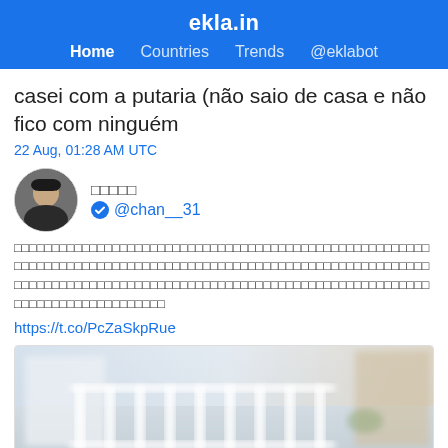ekla.in
Home  Countries  Trends  @eklabot
casei com a putaria (não saio de casa e não fico com ninguém
22 Aug, 01:28 AM UTC
□□□□□ ✔ @chan__31
□□□□□□□□□□□□□□□□□□□□□□□□□□□□□□□□□□□□□□□□□□□□□□□□□□□□□□□□□□□□□□□□□□□□□□□□□□□□□□□□□□□□□□□□□□□□□□□□□□□□□□□□□□□□□□□□□□□□□□□□□□□□□□□□□□□□□□□□□□□□□□□□□□□□□□□□□□□□□□□□□□□□□□□□□□□□□□□□□□□□□□□□
https://t.co/PcZaSkpRue
[Figure (photo): Blurred outdoor photo showing white architectural pillars/balustrade and building facade]